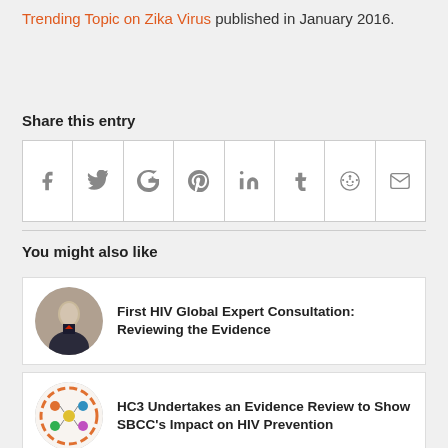Trending Topic on Zika Virus published in January 2016.
Share this entry
[Figure (other): Social media share icons: Facebook, Twitter, Google+, Pinterest, LinkedIn, Tumblr, Reddit, Email]
You might also like
[Figure (photo): Circular thumbnail of a person in a suit]
First HIV Global Expert Consultation: Reviewing the Evidence
[Figure (illustration): Circular thumbnail with colorful icons/infographic]
HC3 Undertakes an Evidence Review to Show SBCC's Impact on HIV Prevention